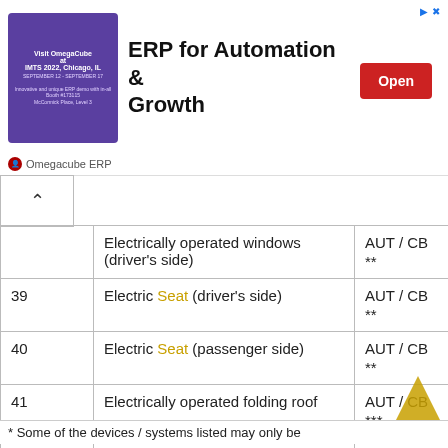[Figure (screenshot): Advertisement banner for Omegacube ERP - 'ERP for Automation & Growth' with purple image, Open button, and Omegacube ERP brand name]
|  | Description | Code |
| --- | --- | --- |
|  | Electrically operated windows (driver's side) | AUT / CB ** |
| 39 | Electric Seat (driver's side) | AUT / CB ** |
| 40 | Electric Seat (passenger side) | AUT / CB ** |
| 41 | Electrically operated folding roof | AUT / CB *** |
| 42 | Electrically operated folding roof | AUT / CB *** |
* Some of the devices / systems listed may only be available on certain models.